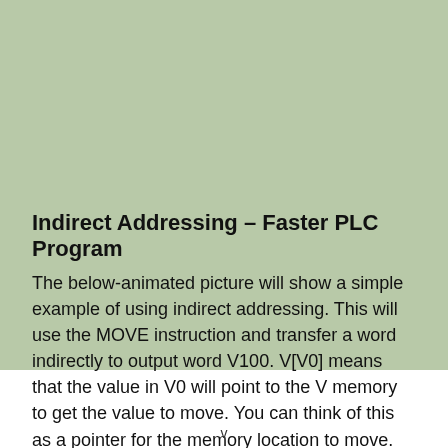Indirect Addressing – Faster PLC Program
The below-animated picture will show a simple example of using indirect addressing. This will use the MOVE instruction and transfer a word indirectly to output word V100. V[V0] means that the value in V0 will point to the V memory to get the value to move. You can think of this as a pointer for the memory location to move.
v